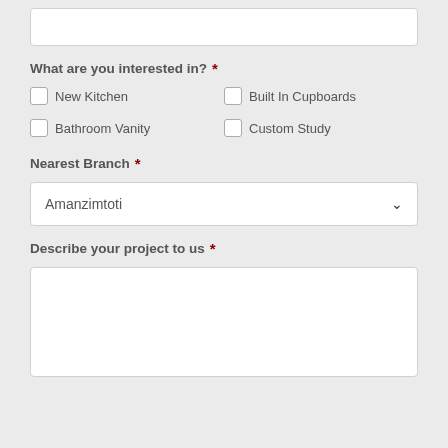What are you interested in? *
New Kitchen
Built In Cupboards
Bathroom Vanity
Custom Study
Nearest Branch *
Amanzimtoti
Describe your project to us *